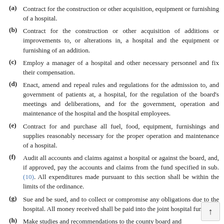(a) Contract for the construction or other acquisition, equipment or furnishing of a hospital.
(b) Contract for the construction or other acquisition of additions or improvements to, or alterations in, a hospital and the equipment or furnishing of an addition.
(c) Employ a manager of a hospital and other necessary personnel and fix their compensation.
(d) Enact, amend and repeal rules and regulations for the admission to, and government of patients at, a hospital, for the regulation of the board's meetings and deliberations, and for the government, operation and maintenance of the hospital and the hospital employees.
(e) Contract for and purchase all fuel, food, equipment, furnishings and supplies reasonably necessary for the proper operation and maintenance of a hospital.
(f) Audit all accounts and claims against a hospital or against the board, and, if approved, pay the accounts and claims from the fund specified in sub. (10). All expenditures made pursuant to this section shall be within the limits of the ordinance.
(g) Sue and be sued, and to collect or compromise any obligations due to the hospital. All money received shall be paid into the joint hospital fund.
(h) Make studies and recommendations to the county board and